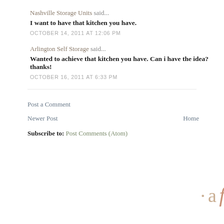Nashville Storage Units said...
I want to have that kitchen you have.
OCTOBER 14, 2011 AT 12:06 PM
Arlington Self Storage said...
Wanted to achieve that kitchen you have. Can i have the idea? thanks!
OCTOBER 16, 2011 AT 6:33 PM
Post a Comment
Newer Post
Home
Subscribe to: Post Comments (Atom)
Should you use or publish any pe